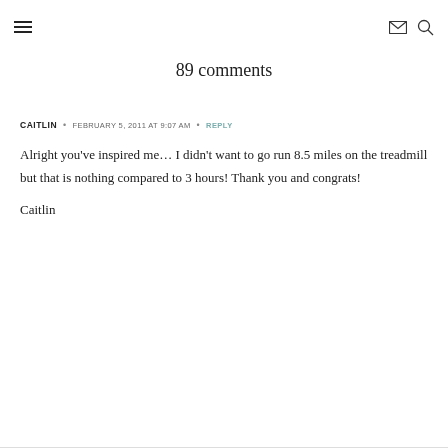≡  ✉  🔍
89 comments
CAITLIN • FEBRUARY 5, 2011 AT 9:07 AM • REPLY
Alright you've inspired me… I didn't want to go run 8.5 miles on the treadmill but that is nothing compared to 3 hours! Thank you and congrats!

Caitlin